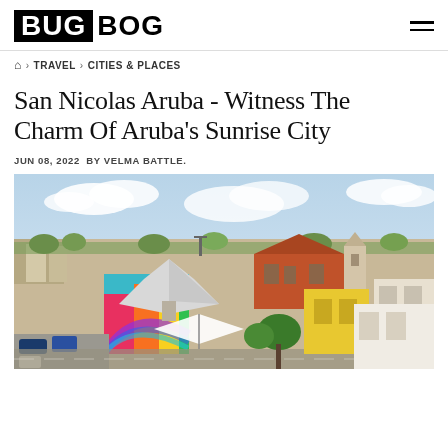BUG BOG
🏠 › TRAVEL › CITIES & PLACES
San Nicolas Aruba - Witness The Charm Of Aruba's Sunrise City
JUN 08, 2022  BY VELMA BATTLE.
[Figure (photo): Aerial view of San Nicolas, Aruba, showing colorful buildings with murals, streets, and a partly cloudy sky]